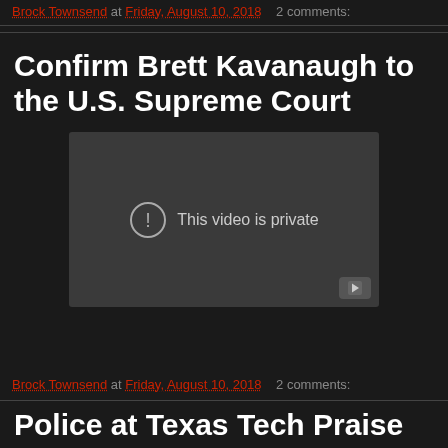Brock Townsend at Friday, August 10, 2018   2 comments:
Confirm Brett Kavanaugh to the U.S. Supreme Court
[Figure (screenshot): Embedded video player showing 'This video is private' message with a circular exclamation icon and a YouTube play button in the bottom right corner.]
Brock Townsend at Friday, August 10, 2018   2 comments:
Police at Texas Tech Praise Campus